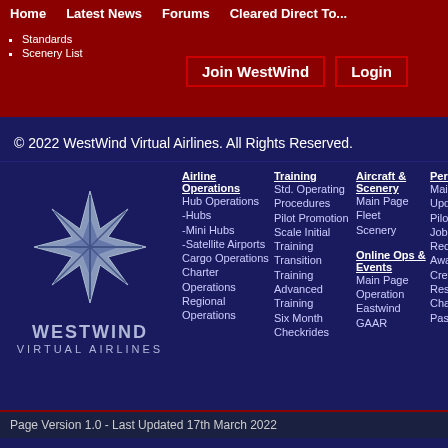Home | Latest News | Forums | Cleared Direct To... | Join WestWind | Login
Standards
Scenery List
© 2022 WestWind Virtual Airlines. All Rights Reserved.
[Figure (logo): WestWind Virtual Airlines star logo in grey/silver on dark blue background]
WESTWIND VIRTUAL AIRLINES
Airline Operations: Hub Operations -Hubs -Mini Hubs -Satellite Airports Cargo Operations Charter Operations Regional Operations
Training: Std. Operating Procedures Pilot Promotion Scale Initial Training Transition Training Advanced Training Six Month Checkrides
Aircraft & Scenery: Main Page Fleet Scenery
Online Ops & Events: Main Page Operation Eastwind GAAR
Personnel: Main Page Update Details Pilot Roster Job Postings Recognition Awards Crew Resources Change Password
Help: FAQ Rules & Regulations Personnel Polices Management Directory
Page Version 1.0 - Last Updated 17th March 2022